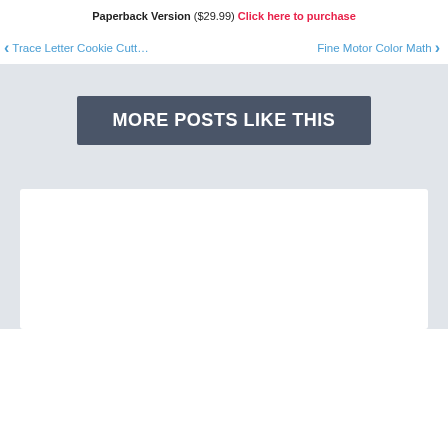Paperback Version ($29.99) Click here to purchase
◄ Trace Letter Cookie Cutt…   Fine Motor Color Math ►
MORE POSTS LIKE THIS
[Figure (other): White card/placeholder area at bottom of page]